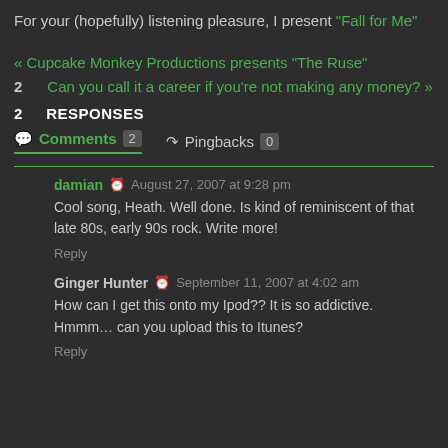For your (hopefully) listening pleasure, I present "Fall for Me"
« Cupcake Monkey Productions presents "The Ruse"
2   Can you call it a career if you're not making any money? »
2 RESPONSES
Comments 2   Pingbacks 0
damian  August 27, 2007 at 9:28 pm
Cool song, Heath. Well done. Is kind of reminiscent of that late 80s, early 90s rock. Write more!
Reply
Ginger Hunter  September 11, 2007 at 4:02 am
How can I get this onto my Ipod?? It is so addictive. Hmmm… can you upload this to Itunes?
Reply